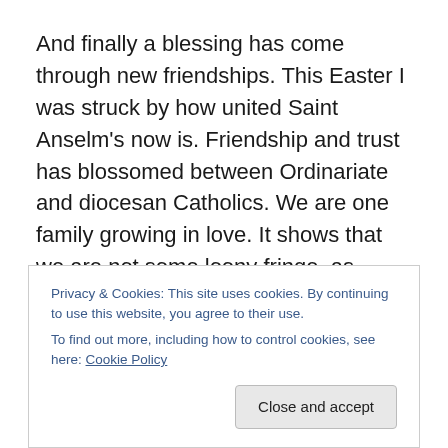And finally a blessing has come through new friendships. This Easter I was struck by how united Saint Anselm's now is. Friendship and trust has blossomed between Ordinariate and diocesan Catholics. We are one family growing in love. It shows that we are not some loony fringe, as outsiders sometimes imagine, but a happy and healthy part of the whole. Catholics who delight in being Catholic!
Ultimately becoming Catholic stands out as one of the greatest decisions of my life. My prayer is that one day we
Privacy & Cookies: This site uses cookies. By continuing to use this website, you agree to their use. To find out more, including how to control cookies, see here: Cookie Policy
Close and accept
biggest blessing of all.